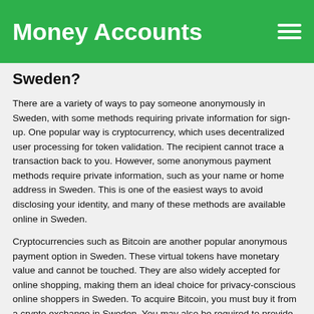Money Accounts
Sweden?
There are a variety of ways to pay someone anonymously in Sweden, with some methods requiring private information for sign-up. One popular way is cryptocurrency, which uses decentralized user processing for token validation. The recipient cannot trace a transaction back to you. However, some anonymous payment methods require private information, such as your name or home address in Sweden. This is one of the easiest ways to avoid disclosing your identity, and many of these methods are available online in Sweden.
Cryptocurrencies such as Bitcoin are another popular anonymous payment option in Sweden. These virtual tokens have monetary value and cannot be touched. They are also widely accepted for online shopping, making them an ideal choice for privacy-conscious online shoppers in Sweden. To acquire Bitcoin, you must buy it from a crypto exchange in Sweden. You may also be required to provide private information for exchange purposes.